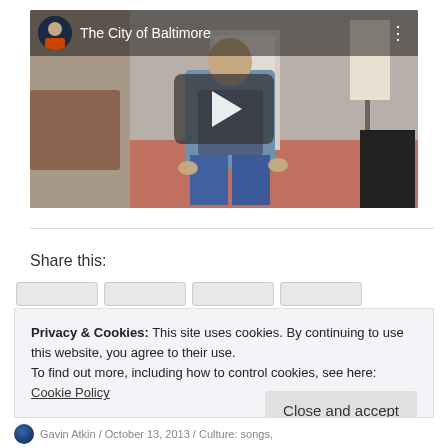[Figure (screenshot): YouTube-style embedded video player showing a man in a grey sweater standing in a living room. Video title: 'The City of Baltimore'. Channel avatar visible top-left. Play button overlay in the center. Three-dot menu icon top-right.]
Share this:
Privacy & Cookies: This site uses cookies. By continuing to use this website, you agree to their use.
To find out more, including how to control cookies, see here:
Cookie Policy
Close and accept
Gavin Atkin / October 13, 2013 / Culture: songs,